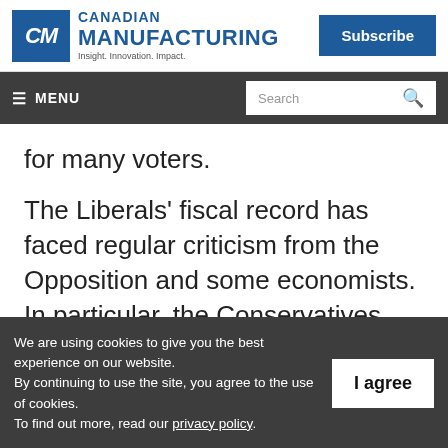Canadian Manufacturing — Insight. Innovation. Impact. | Subscribe
≡ MENU | Search
for many voters.
The Liberals' fiscal record has faced regular criticism from the Opposition and some economists. In particular, the Conservatives have targeted the Liberals over their decisions
We are using cookies to give you the best experience on our website. By continuing to use the site, you agree to the use of cookies. To find out more, read our privacy policy.